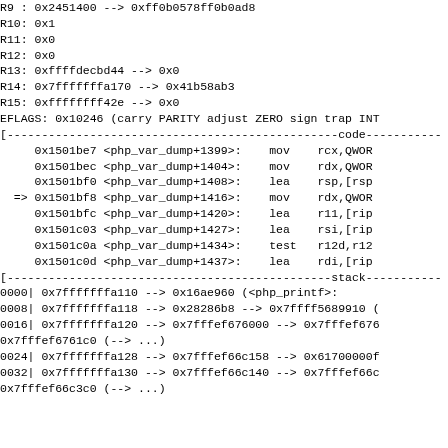R9 : 0x2451400 --> 0xff0b0578ff0b0ad8
R10: 0x1
R11: 0x0
R12: 0x0
R13: 0xffffdecbd44 --> 0x0
R14: 0x7fffffffa170 --> 0x41b58ab3
R15: 0xffffffff42e --> 0x0
EFLAGS: 0x10246 (carry PARITY adjust ZERO sign trap INT[
[------------------------------------------------code---------------
     0x1501be7 <php_var_dump+1399>:    mov    rcx,QWOR
     0x1501bec <php_var_dump+1404>:    mov    rdx,QWOR
     0x1501bf0 <php_var_dump+1408>:    lea    rsp,[rsp
  => 0x1501bf8 <php_var_dump+1416>:    mov    rdx,QWOR
     0x1501bfc <php_var_dump+1420>:    lea    r11,[rip
     0x1501c03 <php_var_dump+1427>:    lea    rsi,[rip
     0x1501c0a <php_var_dump+1434>:    test   r12d,r12
     0x1501c0d <php_var_dump+1437>:    lea    rdi,[rip
[------------------------------------------------stack--------------
0000| 0x7fffffffa110 --> 0x16ae960 (<php_printf>:
0008| 0x7fffffffa118 --> 0x28286b8 --> 0x7ffff5689910 (
0016| 0x7fffffffa120 --> 0x7fffef676000 --> 0x7fffef676
0x7fffef6761c0 (--> ...)
0024| 0x7fffffffa128 --> 0x7fffef66c158 --> 0x61700000f
0032| 0x7fffffffa130 --> 0x7fffef66c140 --> 0x7fffef66c
0x7fffef66c3c0 (--> ...)